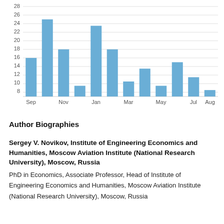[Figure (bar-chart): ]
Author Biographies
Sergey V. Novikov, Institute of Engineering Economics and Humanities, Moscow Aviation Institute (National Research University), Moscow, Russia
PhD in Economics, Associate Professor, Head of Institute of Engineering Economics and Humanities, Moscow Aviation Institute (National Research University), Moscow, Russia